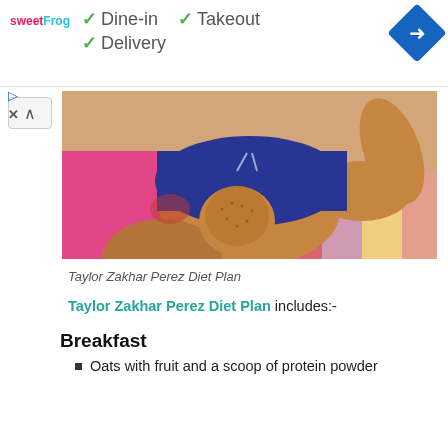Dine-in  Takeout  Delivery
[Figure (photo): Person at beach wearing dark blue swim shorts, showing knee area, lying on colorful towels]
Taylor Zakhar Perez Diet Plan
Taylor Zakhar Perez Diet Plan includes:-
Breakfast
Oats with fruit and a scoop of protein powder